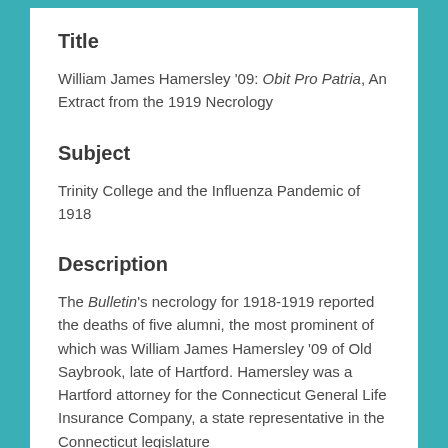Title
William James Hamersley '09: Obit Pro Patria, An Extract from the 1919 Necrology
Subject
Trinity College and the Influenza Pandemic of 1918
Description
The Bulletin's necrology for 1918-1919 reported the deaths of five alumni, the most prominent of which was William James Hamersley '09 of Old Saybrook, late of Hartford. Hamersley was a Hartford attorney for the Connecticut General Life Insurance Company, a state representative in the Connecticut legislature